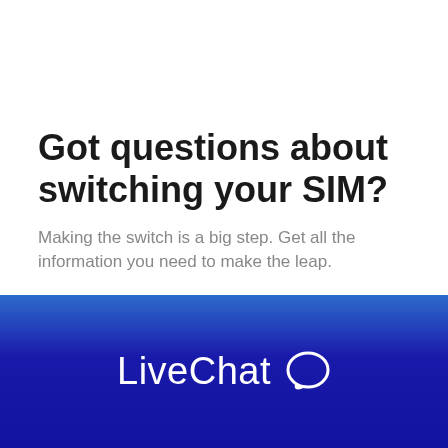Got questions about switching your SIM?
Making the switch is a big step. Get all the information you need to make the leap.
[Figure (logo): LiveChat logo with speech bubble icon on blue gradient background]